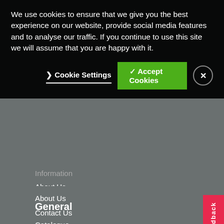We use cookies to ensure that we give you the best experience on our website, provide social media features and to analyse our traffic. If you continue to use this site we will assume that you are happy with it.
❯ Cookie Settings
✓ Accept Cookies
Information
About Us
Contact Us
Terms & Conditions
Privacy Policy
General
Catalogue
FAQs
Our Guarantee
News
Feedback